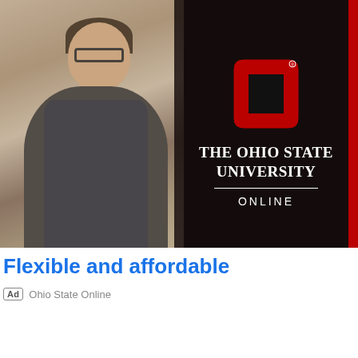[Figure (photo): Advertisement image showing a smiling young man with glasses and dark blazer on the left, and on the right a dark overlay panel with The Ohio State University Online logo and branding text.]
Flexible and affordable
Ad  Ohio State Online